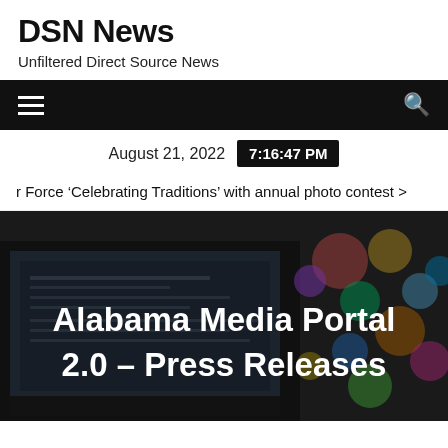DSN News
Unfiltered Direct Source News
August 21, 2022  7:16:47 PM
r Force ‘Celebrating Traditions’ with annual photo contest >
[Figure (photo): Hero image showing a laptop and colorful bokeh lights in the background with overlay text reading Alabama Media Portal 2.0 – Press Releases]